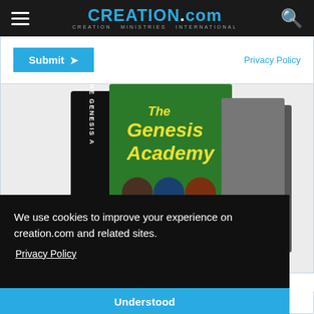CREATION.com CREATION MINISTRIES INTERNATIONAL
Submit   Privacy Policy
[Figure (photo): Box set of 'The Genesis Academy' DVD series — a green box with bold yellow and white text reading 'THE GENESIS ACADEMY' with circular images of nature/science topics on the front, and a black spine showing 'THE GENESIS A...' text vertically]
We use cookies to improve your experience on creation.com and related sites.
Privacy Policy
Understood
teaching series on Genesis 1–11